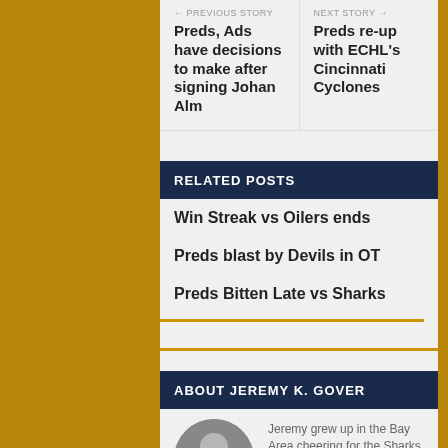Previous Story
Next Story
Preds, Ads have decisions to make after signing Johan Alm
Preds re-up with ECHL's Cincinnati Cyclones
RELATED POSTS
Win Streak vs Oilers ends
Preds blast by Devils in OT
Preds Bitten Late vs Sharks
ABOUT JEREMY K. GOVER
Jeremy grew up in the Bay Area cheering for the Sharks since their inception. He moved to Nashville in September of 2005 and became a season ticket holder a day later. Thankfully, he no